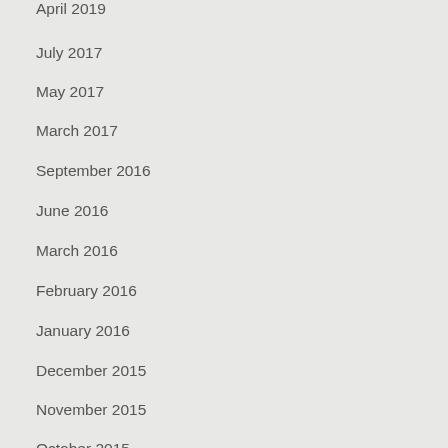April 2019
July 2017
May 2017
March 2017
September 2016
June 2016
March 2016
February 2016
January 2016
December 2015
November 2015
October 2015